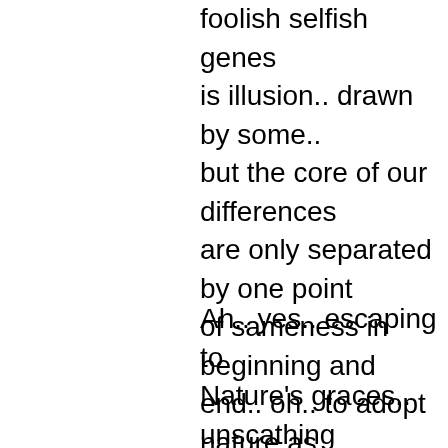foolish selfish genes
is illusion.. drawn by some..
but the core of our differences
are only separated by one point
of sameness in beginning and
end.. oh.. to adopt nature as
oneself.. is to know and feel
delight.. that nature is a race
we are all in together as ONE..:)
Ah.. yes.. escaping to
Nature's graces.. unscathing
human culture.. snow and
ice fresh air breeze.. in
places
mostly
Nature